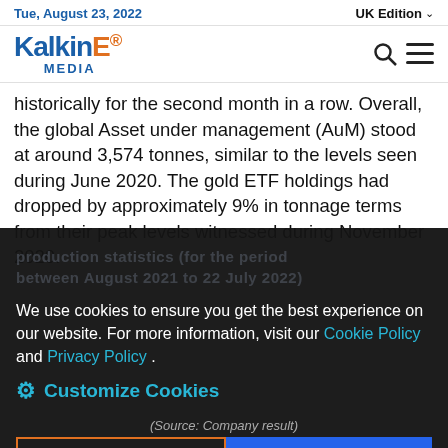Tue, August 23, 2022  |  UK Edition
[Figure (logo): Kalkine Media logo with search and menu icons]
historically for the second month in a row. Overall, the global Asset under management (AuM) stood at around 3,574 tonnes, similar to the levels seen during June 2020. The gold ETF holdings had dropped by approximately 9% in tonnage terms from their peak levels witnessed during November 2020.
We use cookies to ensure you get the best experience on our website. For more information, visit our Cookie Policy and Privacy Policy .
Customize Cookies
(Source: Company result)
The Company's Gold production from its Gold Mine had shown an increase of 53% during Q1 FY81 as compared to Q1 FY20 and its store...